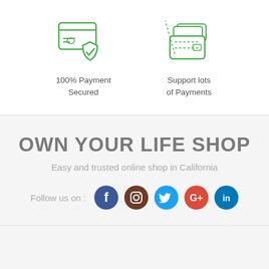[Figure (illustration): Green outline icon of a credit card with a security shield and checkmark]
100% Payment Secured
[Figure (illustration): Green outline icon of a wallet with cards inside]
Support lots of Payments
OWN YOUR LIFE SHOP
Easy and trusted online shop in California
Follow us on :
[Figure (illustration): Row of social media icons: Facebook, Instagram, Twitter, Google+, LinkedIn]